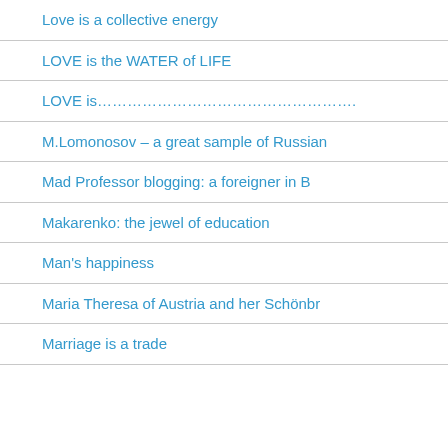Love is a collective energy
LOVE is the WATER of LIFE
LOVE is……………………………..
M.Lomonosov – a great sample of Russian
Mad Professor blogging: a foreigner in B
Makarenko: the jewel of education
Man's happiness
Maria Theresa of Austria and her Schönbr
Marriage is a trade